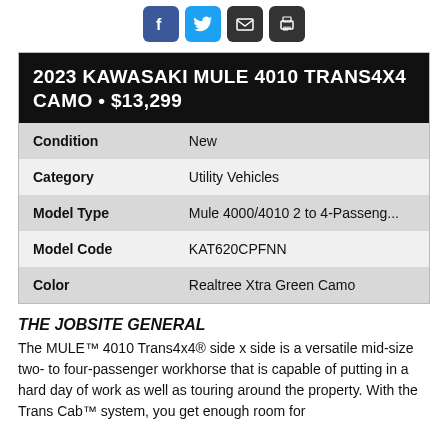[Figure (illustration): Social media share icons: Facebook (blue), Twitter (light blue), Email (dark), Print (dark)]
2023 KAWASAKI MULE 4010 TRANS4X4 CAMO • $13,299
| Condition | New |
| Category | Utility Vehicles |
| Model Type | Mule 4000/4010 2 to 4-Passeng... |
| Model Code | KAT620CPFNN |
| Color | Realtree Xtra Green Camo |
THE JOBSITE GENERAL
The MULE™ 4010 Trans4x4® side x side is a versatile mid-size two- to four-passenger workhorse that is capable of putting in a hard day of work as well as touring around the property. With the Trans Cab™ system, you get enough room for